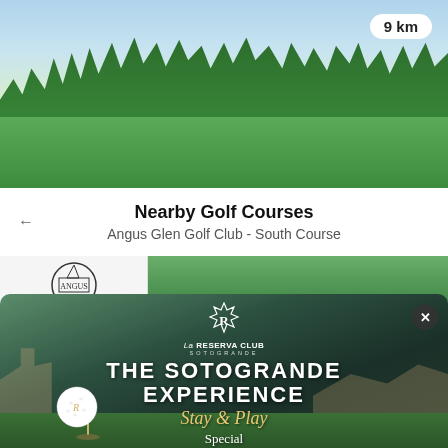[Figure (photo): Aerial view of a golf course fairway with dense green forest trees in the background and blue sky with clouds. A distance badge showing '9 km' is in the top right.]
Nearby Golf Courses
Angus Glen Golf Club - South Course
[Figure (photo): Thumbnail strip showing a golf club logo on the left and a green golf course on the right.]
[Figure (photo): Overlay advertisement for La Reserva Club Sotogrande showing a golf resort scene with building, golf ball on tee, and text: THE SOTOGRANDE EXPERIENCE Stay & Play Special golf package. Has a close (X) button in top right.]